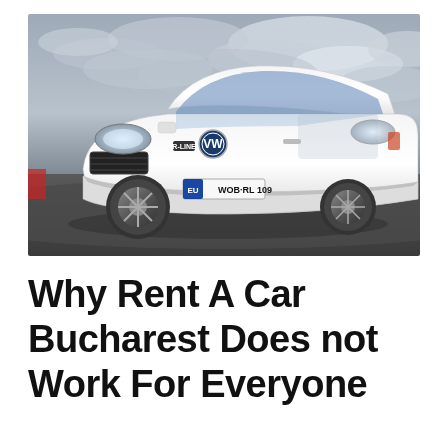[Figure (photo): A white Volkswagen Polo R-Line hatchback car photographed from a front-three-quarter angle on a dark road surface with a dramatic cloudy sky background. The license plate reads WOB RL 109.]
Why Rent A Car Bucharest Does not Work For Everyone